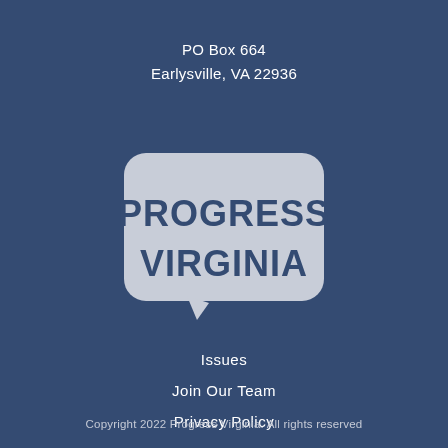PO Box 664
Earlysville, VA 22936
[Figure (logo): Progress Virginia speech bubble logo — light grey rounded rectangle speech bubble with 'PROGRESS VIRGINIA' text in dark navy bold font inside]
Issues
Join Our Team
Privacy Policy
Copyright 2022 Progress Virginia. All rights reserved